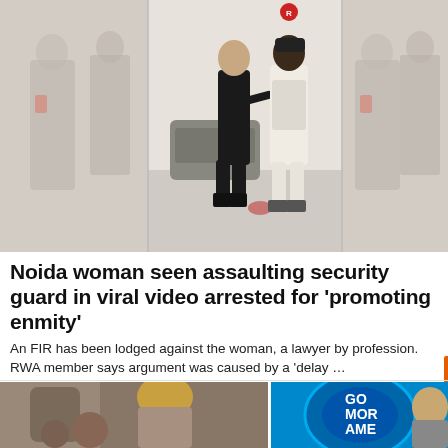[Figure (photo): A composite/triptych image showing a woman in a black top and black pants appearing to confront or assault a uniformed security guard on a street. The center panel is clear while the left and right panels show faded/ghosted versions of similar frames.]
Noida woman seen assaulting security guard in viral video arrested for 'promoting enmity'
An FIR has been lodged against the woman, a lawyer by profession. RWA member says argument was caused by a 'delay …
ThePrint
[Figure (photo): A partial screenshot showing two side-by-side images: on the left, a woman with blonde hair at what appears to be a TV show outdoor set with people around her; on the right, a woman in front of a blue circular graphic reading 'GOOD MORNING AMERICA' (partially visible as 'GOO MOR AME').]